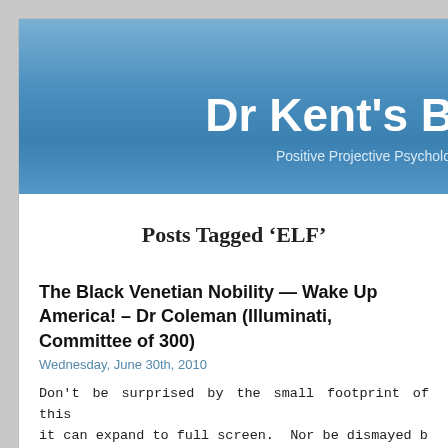Dr Kent's B — Positive Projective Psycholo…
Posts Tagged 'ELF'
The Black Venetian Nobility — Wake Up America! – Dr Coleman (Illuminati, Committee of 300)
Wednesday, June 30th, 2010
Don't be surprised by the small footprint of this it can expand to full screen.  Nor be dismayed by poor image quality.  This video may be the most po moment in your day.